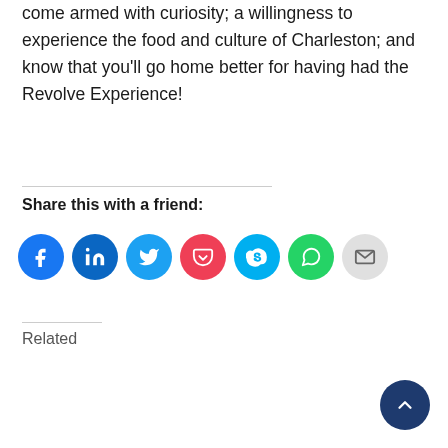come armed with curiosity; a willingness to experience the food and culture of Charleston; and know that you'll go home better for having had the Revolve Experience!
Share this with a friend:
[Figure (other): Social sharing icons: Facebook, LinkedIn, Twitter, Pocket, Skype, WhatsApp, Email]
Related